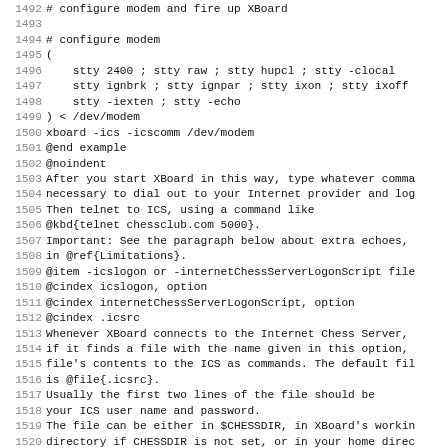1492 # configure modem and fire up XBoard
1493
1494 # configure modem
1495 (
1496     stty 2400 ; stty raw ; stty hupcl ; stty -clocal
1497     stty ignbrk ; stty ignpar ; stty ixon ; stty ixoff
1498     stty -iexten ; stty -echo
1499 ) < /dev/modem
1500 xboard -ics -icscomm /dev/modem
1501 @end example
1502 @noindent
1503 After you start XBoard in this way, type whatever comma
1504 necessary to dial out to your Internet provider and log
1505 Then telnet to ICS, using a command like
1506 @kbd{telnet chessclub.com 5000}.
1507 Important: See the paragraph below about extra echoes,
1508 in @ref{Limitations}.
1509 @item -icslogon or -internetChessServerLogonScript file
1510 @cindex icslogon, option
1511 @cindex internetChessServerLogonScript, option
1512 @cindex .icsrc
1513 Whenever XBoard connects to the Internet Chess Server,
1514 if it finds a file with the name given in this option,
1515 file's contents to the ICS as commands. The default fil
1516 is @file{.icsrc}.
1517 Usually the first two lines of the file should be
1518 your ICS user name and password.
1519 The file can be either in $CHESSDIR, in XBoard's workin
1520 directory if CHESSDIR is not set, or in your home direc
1521 @item -msLoginDelay delay
1522 @cindex msLoginDelay, option
1523 If you experience trouble logging on to an ICS when